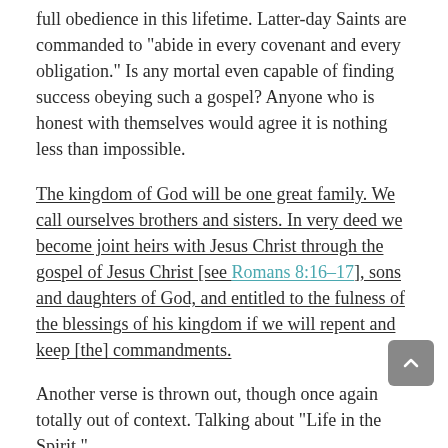full obedience in this lifetime. Latter-day Saints are commanded to “abide in every covenant and every obligation.” Is any mortal even capable of finding success obeying such a gospel? Anyone who is honest with themselves would agree it is nothing less than impossible.
The kingdom of God will be one great family. We call ourselves brothers and sisters. In very deed we become joint heirs with Jesus Christ through the gospel of Jesus Christ [see Romans 8:16–17], sons and daughters of God, and entitled to the fulness of the blessings of his kingdom if we will repent and keep [the] commandments.
Another verse is thrown out, though once again totally out of context. Talking about “Life in the Spirit,” Romans 8:14-17 says: